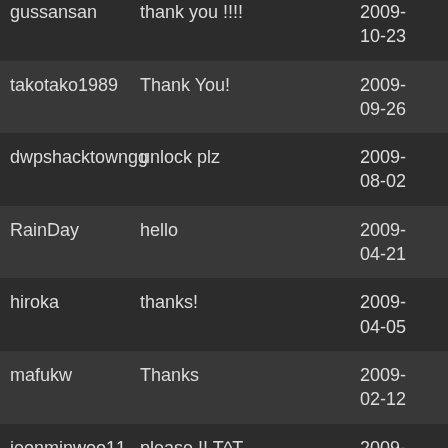| username | comment | date |
| --- | --- | --- |
| gussansan | thank you !!!! | 2009-10-23 |
| takotako1989 | Thank You! | 2009-09-26 |
| dwpshacktowngg | unlock plz | 2009-08-02 |
| RainDay | hello | 2009-04-21 |
| hiroka | thanks! | 2009-04-05 |
| mafukw | Thanks | 2009-02-12 |
| jeonminwoo11 | please !! T^T | 2009-01-28 |
| tomohiro1975 | please!! | 2009-01-27 |